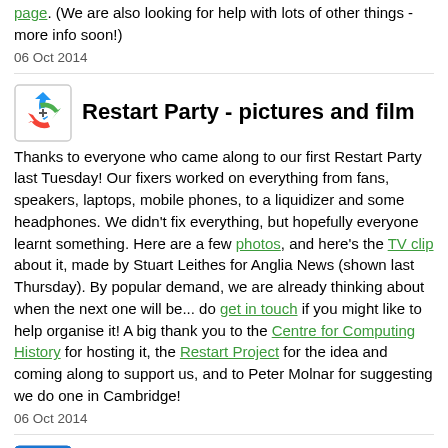page. (We are also looking for help with lots of other things - more info soon!)
06 Oct 2014
Restart Party - pictures and film
Thanks to everyone who came along to our first Restart Party last Tuesday! Our fixers worked on everything from fans, speakers, laptops, mobile phones, to a liquidizer and some headphones. We didn't fix everything, but hopefully everyone learnt something. Here are a few photos, and here's the TV clip about it, made by Stuart Leithes for Anglia News (shown last Thursday). By popular demand, we are already thinking about when the next one will be... do get in touch if you might like to help organise it! A big thank you to the Centre for Computing History for hosting it, the Restart Project for the idea and coming along to support us, and to Peter Molnar for suggesting we do one in Cambridge!
06 Oct 2014
New Energy Saving Personal Checklist
Have you been thinking about how to save energy at home? Would you like some advice? The Energy Group now have a tool to help you. Fill in the survey here to get a personalised checklist with ideas to help you save. The checklist links into our existing advice web pages and other resources. This survey and checklist was developed